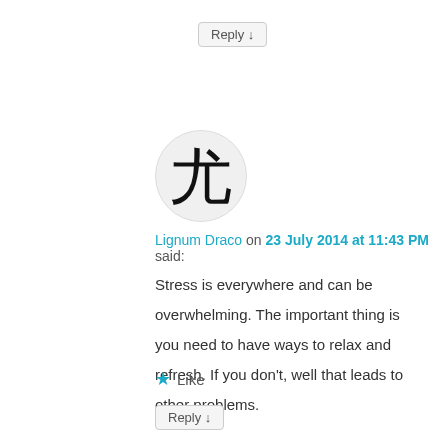Reply ↓
[Figure (illustration): Circular avatar with a Chinese/Japanese kanji character (龙/dragon) in black brush stroke style on a light gray background]
Lignum Draco on 23 July 2014 at 11:43 PM said:
Stress is everywhere and can be overwhelming. The important thing is you need to have ways to relax and refresh. If you don't, well that leads to other problems.
★ Like
Reply ↓